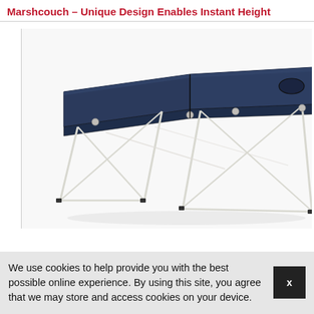Marshcouch – Unique Design Enables Instant Height
[Figure (photo): A portable folding massage table with dark navy blue upholstered top surface in two sections, white metal folding frame legs with X-cross supports, and a face hole cutout on the right end. The table is photographed at an angle on a white background.]
We use cookies to help provide you with the best possible online experience. By using this site, you agree that we may store and access cookies on your device.